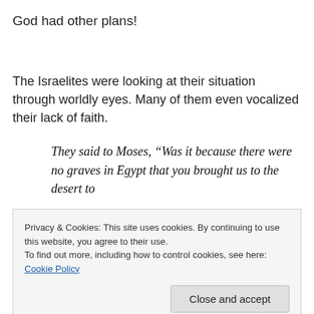God had other plans!
The Israelites were looking at their situation through worldly eyes. Many of them even vocalized their lack of faith.
They said to Moses, “Was it because there were no graves in Egypt that you brought us to the desert to
Privacy & Cookies: This site uses cookies. By continuing to use this website, you agree to their use.
To find out more, including how to control cookies, see here: Cookie Policy
Close and accept
that allows us to see the best in the very same situations.